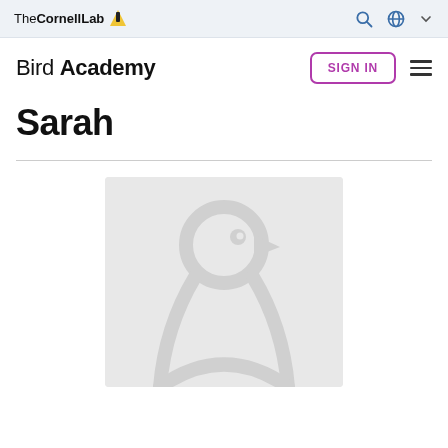The Cornell Lab — navigation bar with search, globe, and dropdown icons
Bird Academy
Sarah
[Figure (illustration): Default user avatar placeholder showing a stylized white bird silhouette on a light grey background]